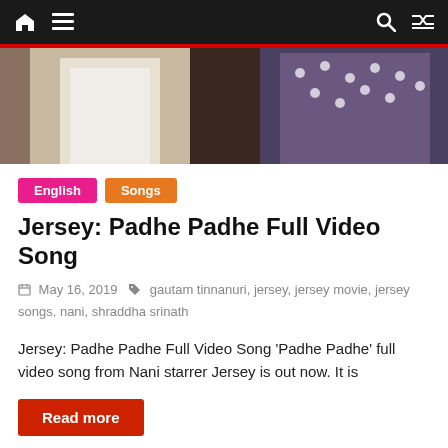Navigation bar with home, menu, search, and shuffle icons
[Figure (photo): Hero image showing a person in white clothing and another in dark polka dot clothing, partially visible]
English | Songs
Jersey: Padhe Padhe Full Video Song
May 16, 2019  gautam tinnanuri, jersey, jersey movie, jersey songs, nani, shraddha srinath
Jersey: Padhe Padhe Full Video Song ‘Padhe Padhe’ full video song from Nani starrer Jersey is out now. It is
Read more
[Figure (photo): Partial image of two people visible at bottom of page, outdoor sky background]